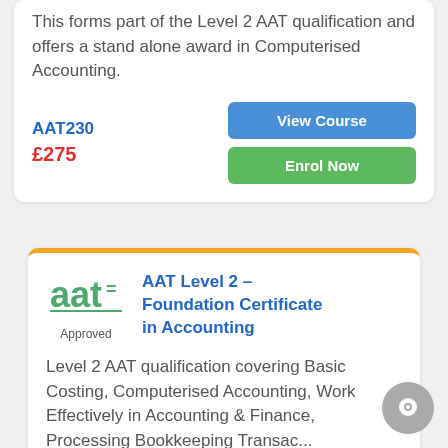This forms part of the Level 2 AAT qualification and offers a stand alone award in Computerised Accounting.
AAT230
£275
View Course
Enrol Now
[Figure (logo): AAT Approved logo — green stylized 'aat' text with equals sign, underline, and 'Approved' below]
AAT Level 2 – Foundation Certificate in Accounting
Level 2 AAT qualification covering Basic Costing, Computerised Accounting, Work Effectively in Accounting & Finance, Processing Bookkeeping Transac...